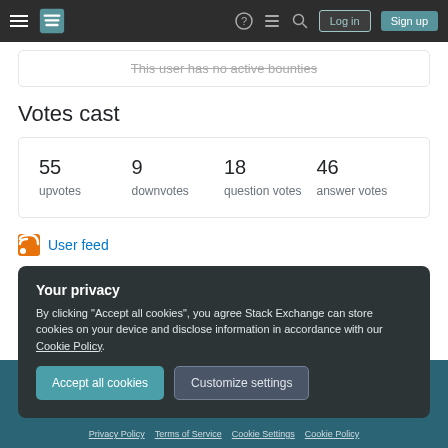Stack Exchange navigation bar with hamburger menu, logo, help, chat, search, Log in and Sign up buttons
This user has no active bounties
Votes cast
| 55 upvotes | 9 downvotes | 18 question votes | 46 answer votes |
| --- | --- | --- | --- |
User feed
Your privacy
By clicking "Accept all cookies", you agree Stack Exchange can store cookies on your device and disclose information in accordance with our Cookie Policy.
Accept all cookies   Customize settings
Privacy Policy  Terms of Service  Cookie Settings  Cookie Policy